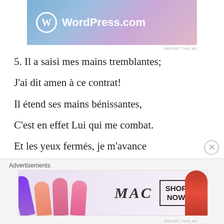[Figure (screenshot): WordPress.com advertisement banner with gradient blue-to-pink background and WordPress logo]
REPORT THIS AD
5. Il a saisi mes mains tremblantes;
J'ai dit amen à ce contrat!
Il étend ses mains bénissantes,
C'est en effet Lui qui me combat.
Et les yeux fermés, je m'avance
Tranquille, sur le droit chemin.
Advertisements
[Figure (screenshot): MAC cosmetics advertisement banner showing lipsticks and SHOP NOW text]
REPORT THIS AD